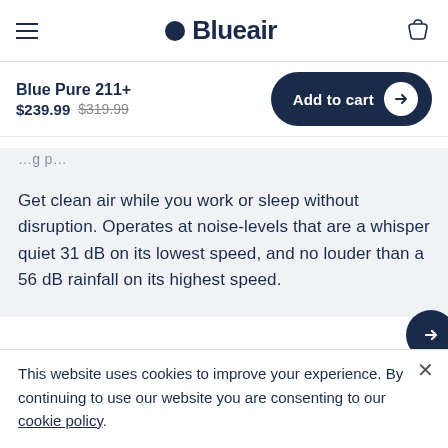Blueair
Blue Pure 211+
$239.99 $319.99
Add to cart
Get clean air while you work or sleep without disruption. Operates at noise-levels that are a whisper quiet 31 dB on its lowest speed, and no louder than a 56 dB rainfall on its highest speed.
This website uses cookies to improve your experience. By continuing to use our website you are consenting to our cookie policy.